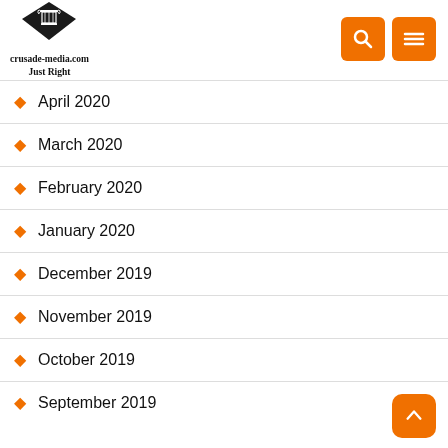[Figure (logo): crusade-media.com Just Right logo with diamond and column icon]
April 2020
March 2020
February 2020
January 2020
December 2019
November 2019
October 2019
September 2019